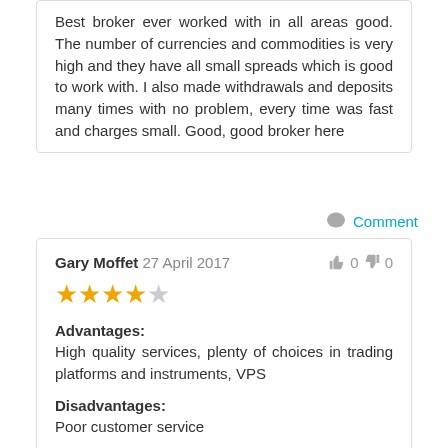Best broker ever worked with in all areas good. The number of currencies and commodities is very high and they have all small spreads which is good to work with. I also made withdrawals and deposits many times with no problem, every time was fast and charges small. Good, good broker here
Comment
Gary Moffet 27 April 2017  👍 0 👎 0
★★★★☆
Advantages: High quality services, plenty of choices in trading platforms and instruments, VPS
Disadvantages: Poor customer service
Comment: You have to put this broker at the top, I've used RoboForex before and they are nothing compared to FxPro. My only problem with FxPro comes with the live chat support, when I tried to request an investor password and the agent just...